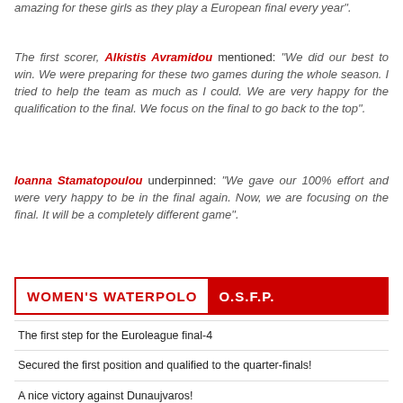amazing for these girls as they play a European final every year".
The first scorer, Alkistis Avramidou mentioned: "We did our best to win. We were preparing for these two games during the whole season. I tried to help the team as much as I could. We are very happy for the qualification to the final. We focus on the final to go back to the top".
Ioanna Stamatopoulou underpinned: "We gave our 100% effort and were very happy to be in the final again. Now, we are focusing on the final. It will be a completely different game".
WOMEN'S WATERPOLO  O.S.F.P.
The first step for the Euroleague final-4
Secured the first position and qualified to the quarter-finals!
A nice victory against Dunaujvaros!
A good start in Euroleague!